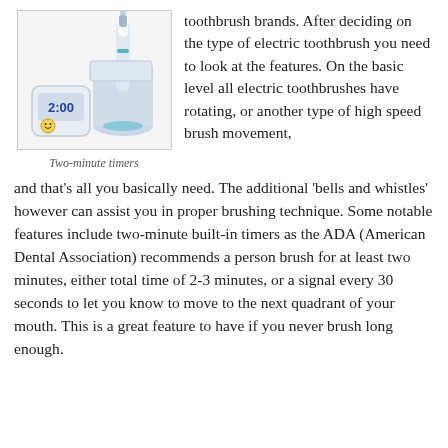[Figure (photo): Electric toothbrush with charging base and a separate timer device showing '2:00' with a smiley face. Two-minute timer accessories for electric toothbrushes.]
Two-minute timers
toothbrush brands. After deciding on the type of electric toothbrush you need to look at the features. On the basic level all electric toothbrushes have rotating, or another type of high speed brush movement, and that's all you basically need. The additional 'bells and whistles' however can assist you in proper brushing technique. Some notable features include two-minute built-in timers as the ADA (American Dental Association) recommends a person brush for at least two minutes, either total time of 2-3 minutes, or a signal every 30 seconds to let you know to move to the next quadrant of your mouth. This is a great feature to have if you never brush long enough.